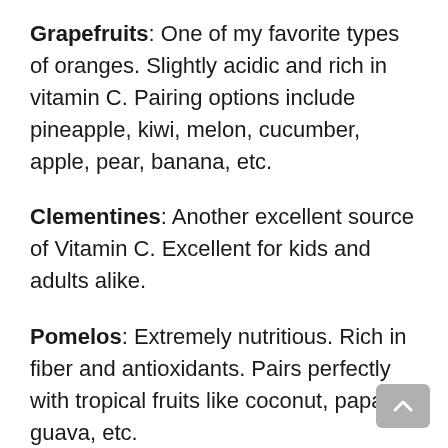Grapefruits: One of my favorite types of oranges. Slightly acidic and rich in vitamin C. Pairing options include pineapple, kiwi, melon, cucumber, apple, pear, banana, etc.
Clementines: Another excellent source of Vitamin C. Excellent for kids and adults alike.
Pomelos: Extremely nutritious. Rich in fiber and antioxidants. Pairs perfectly with tropical fruits like coconut, papaya, guava, etc.